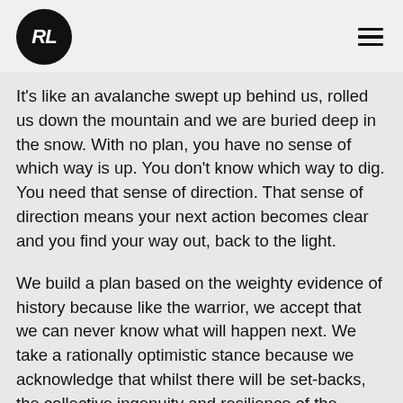[Figure (logo): Round black circle logo with white italic bold letters RL inside]
It's like an avalanche swept up behind us, rolled us down the mountain and we are buried deep in the snow. With no plan, you have no sense of which way is up. You don't know which way to dig. You need that sense of direction. That sense of direction means your next action becomes clear and you find your way out, back to the light.
We build a plan based on the weighty evidence of history because like the warrior, we accept that we can never know what will happen next. We take a rationally optimistic stance because we acknowledge that whilst there will be set-backs, the collective ingenuity and resilience of the human race will see us through. It has, after all, never failed us yet, and data tells us it has